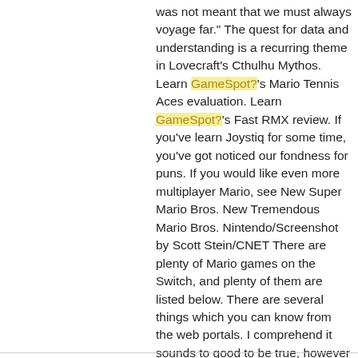was not meant that we must always voyage far." The quest for data and understanding is a recurring theme in Lovecraft's Cthulhu Mythos. Learn GameSpot?'s Mario Tennis Aces evaluation. Learn GameSpot?'s Fast RMX review. If you've learn Joystiq for some time, you've got noticed our fondness for puns. If you would like even more multiplayer Mario, see New Super Mario Bros. New Tremendous Mario Bros. Nintendo/Screenshot by Scott Stein/CNET There are plenty of Mario games on the Switch, and plenty of them are listed below. There are several things which you can know from the web portals. I comprehend it sounds to good to be true, however imagine me once i say that is the true-deal. Zac was never affected person sufficient to do paintings, draw footage or colour in, so we didn't actually know him in that method. Minetest: A free and open-source game that may be very easy to set up and play.</p>